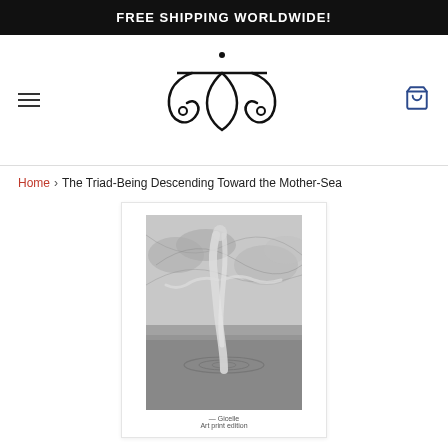FREE SHIPPING WORLDWIDE!
[Figure (logo): Stylized ornamental logo with curling scroll shapes forming a symmetrical emblem with a dot on top and a horizontal bar through the middle]
Home › The Triad-Being Descending Toward the Mother-Sea
[Figure (illustration): Black and white illustration showing a figure descending toward water with ripple circles, set against a dramatic cloudy sky background. Printed on white card with a small caption at the bottom.]